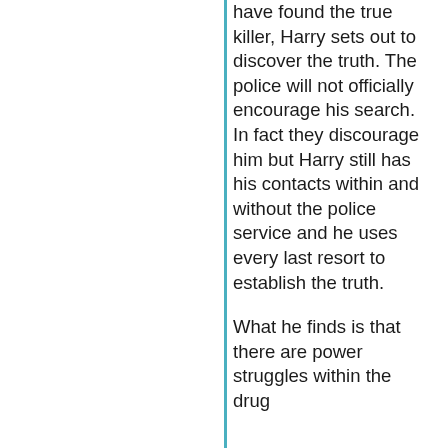have found the true killer, Harry sets out to discover the truth. The police will not officially encourage his search. In fact they discourage him but Harry still has his contacts within and without the police service and he uses every last resort to establish the truth.

What he finds is that there are power struggles within the drug